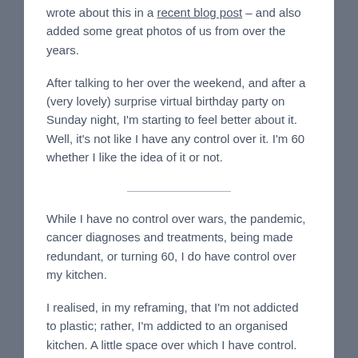wrote about this in a recent blog post – and also added some great photos of us from over the years.
After talking to her over the weekend, and after a (very lovely) surprise virtual birthday party on Sunday night, I'm starting to feel better about it. Well, it's not like I have any control over it. I'm 60 whether I like the idea of it or not.
While I have no control over wars, the pandemic, cancer diagnoses and treatments, being made redundant, or turning 60, I do have control over my kitchen.
I realised, in my reframing, that I'm not addicted to plastic; rather, I'm addicted to an organised kitchen. A little space over which I have control.